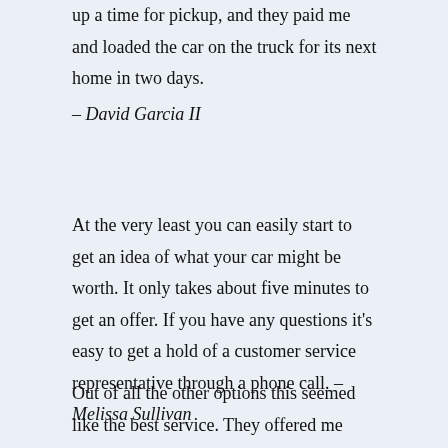up a time for pickup, and they paid me and loaded the car on the truck for its next home in two days.
– David Garcia II
At the very least you can easily start to get an idea of what your car might be worth. It only takes about five minutes to get an offer. If you have any questions it's easy to get a hold of a customer service representative through a phone call. – Melissa Sullivan
Out of all the other options this seemed like the best service. They offered me more than their